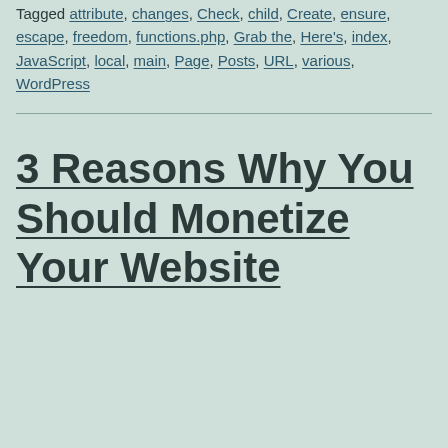Tagged attribute, changes, Check, child, Create, ensure, escape, freedom, functions.php, Grab the, Here's, index, JavaScript, local, main, Page, Posts, URL, various, WordPress
3 Reasons Why You Should Monetize Your Website